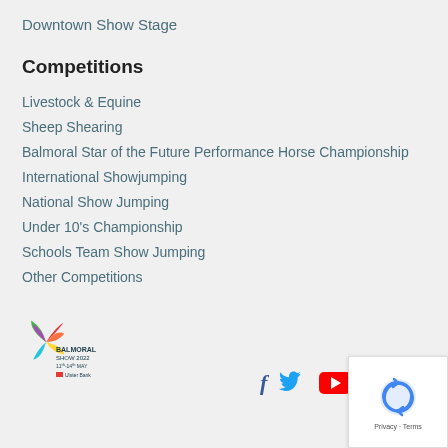Downtown Show Stage
Competitions
Livestock & Equine
Sheep Shearing
Balmoral Star of the Future Performance Horse Championship
International Showjumping
National Show Jumping
Under 10's Championship
Schools Team Show Jumping
Other Competitions
[Figure (logo): Balmoral Show 2022 logo with Ulster Bank sponsor, 11th-14th May]
[Figure (infographic): Social media icons: Facebook, Twitter, YouTube]